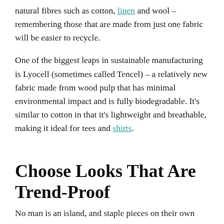natural fibres such as cotton, linen and wool – remembering those that are made from just one fabric will be easier to recycle.
One of the biggest leaps in sustainable manufacturing is Lyocell (sometimes called Tencel) – a relatively new fabric made from wood pulp that has minimal environmental impact and is fully biodegradable. It's similar to cotton in that it's lightweight and breathable, making it ideal for tees and shirts.
Choose Looks That Are Trend-Proof
No man is an island, and staple pieces on their own aren't